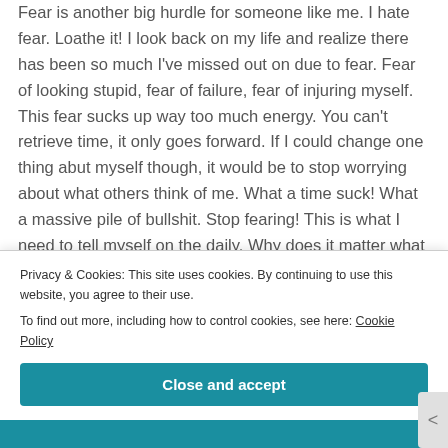Fear is another big hurdle for someone like me. I hate fear. Loathe it! I look back on my life and realize there has been so much I've missed out on due to fear. Fear of looking stupid, fear of failure, fear of injuring myself. This fear sucks up way too much energy. You can't retrieve time, it only goes forward. If I could change one thing abut myself though, it would be to stop worrying about what others think of me. What a time suck! What a massive pile of bullshit. Stop fearing! This is what I need to tell myself on the daily. Why does it matter what others think of me? Unless I've done
Privacy & Cookies: This site uses cookies. By continuing to use this website, you agree to their use.
To find out more, including how to control cookies, see here: Cookie Policy
Close and accept